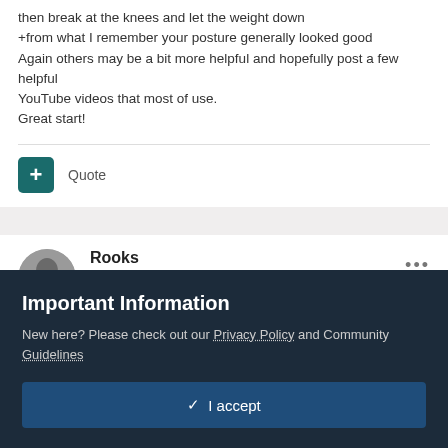then break at the knees and let the weight down
+from what I remember your posture generally looked good
Again others may be a bit more helpful and hopefully post a few helpful YouTube videos that most of use.
Great start!
Quote
Rooks
Posted October 22, 2014
For your squat, I thought it looked pretty solid, but I'd like to see it from a
Important Information
New here? Please check out our Privacy Policy and Community Guidelines
✓  I accept